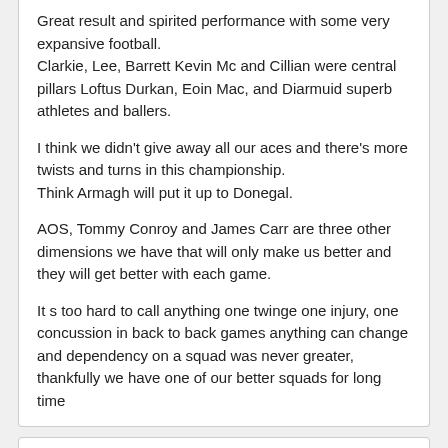Great result and spirited performance with some very expansive football.
Clarkie, Lee, Barrett Kevin Mc and Cillian were central pillars Loftus Durkan, Eoin Mac, and Diarmuid superb athletes and ballers.

I think we didn't give away all our aces and there's more twists and turns in this championship.
Think Armagh will put it up to Donegal.

AOS, Tommy Conroy and James Carr are three other dimensions we have that will only make us better and they will get better with each game.

It s too hard to call anything one twinge one injury, one concussion in back to back games anything can change and dependency on a squad was never greater, thankfully we have one of our better squads for long time
[Figure (illustration): Grey avatar/profile placeholder image showing a silhouette of a person]
Gamechanger10 says:
November 8, 2020 at 6:59 pm